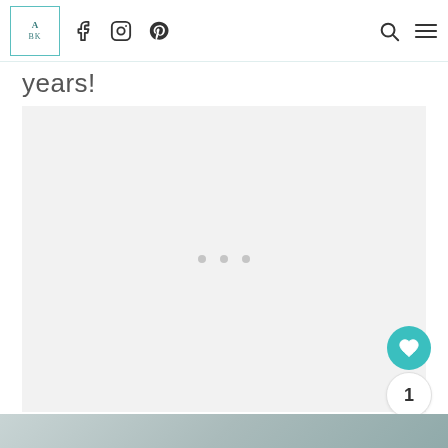Navigation bar with logo, social icons (Facebook, Instagram, Pinterest), search and menu icons
years!
[Figure (other): Advertisement placeholder area with three grey loading dots in the center]
[Figure (other): Floating action buttons: heart/like button (teal), count badge showing 1, and share button]
[Figure (photo): Bottom portion of a food/recipe photo, partially visible]